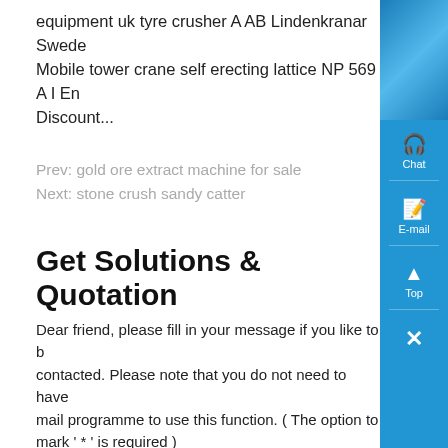equipment uk tyre crusher A AB Lindenkranar Sweden Mobile tower crane self erecting lattice NP 569 A I En Discount...
Prev: gold ore extract machine for sale
Next: stone crush sandy catter
Get Solutions & Quotation
Dear friend, please fill in your message if you like to be contacted. Please note that you do not need to have a mail programme to use this function. ( The option to mark ' * ' is required )
| *
Products: | Please Select! | Basalt | Barite | Bentonite |
| --- | --- | --- | --- | --- |